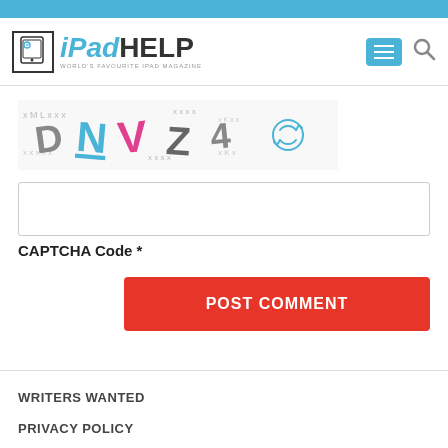[Figure (logo): iPadHELP logo with tablet icon, blue and black text, tagline 'WORLD'S FAVOURITE IPAD MAGAZINE']
[Figure (screenshot): CAPTCHA image showing distorted letters DNZ4 with background noise and a refresh icon]
[Figure (screenshot): Empty CAPTCHA text input field]
CAPTCHA Code *
[Figure (screenshot): POST COMMENT red button]
WRITERS WANTED
PRIVACY POLICY